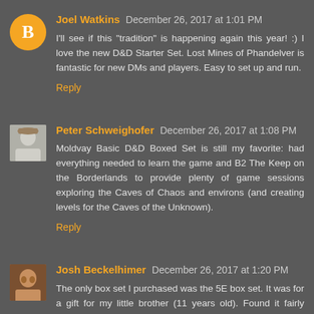Joel Watkins December 26, 2017 at 1:01 PM
I'll see if this "tradition" is happening again this year! :) I love the new D&D Starter Set. Lost Mines of Phandelver is fantastic for new DMs and players. Easy to set up and run.
Reply
Peter Schweighofer December 26, 2017 at 1:08 PM
Moldvay Basic D&D Boxed Set is still my favorite: had everything needed to learn the game and B2 The Keep on the Borderlands to provide plenty of game sessions exploring the Caves of Chaos and environs (and creating levels for the Caves of the Unknown).
Reply
Josh Beckelhimer December 26, 2017 at 1:20 PM
The only box set I purchased was the 5E box set. It was for a gift for my little brother (11 years old). Found it fairly simple to jump right into playing which is great for kids.